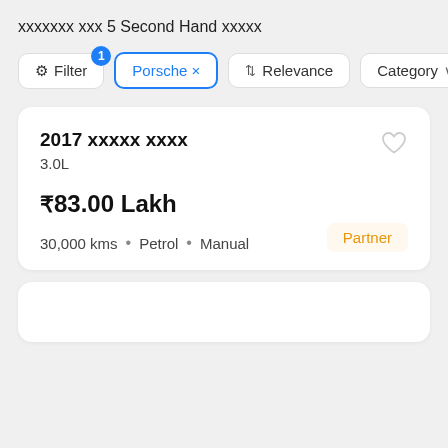xxxxxxx xxx 5 Second Hand xxxxx
Filter  Porsche ×  Relevance  Category
2017 xxxxx xxxx
3.0L
₹83.00 Lakh
30,000 kms • Petrol • Manual
Partner